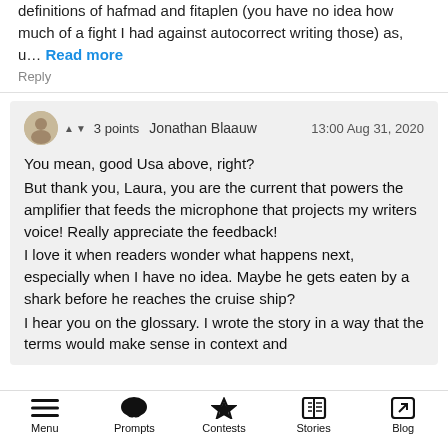definitions of hafmad and fitaplen (you have no idea how much of a fight I had against autocorrect writing those) as, u… Read more
Reply
3 points  Jonathan Blaauw  13:00 Aug 31, 2020
You mean, good Usa above, right?
But thank you, Laura, you are the current that powers the amplifier that feeds the microphone that projects my writers voice! Really appreciate the feedback!
I love it when readers wonder what happens next, especially when I have no idea. Maybe he gets eaten by a shark before he reaches the cruise ship?
I hear you on the glossary. I wrote the story in a way that the terms would make sense in context and
Menu  Prompts  Contests  Stories  Blog